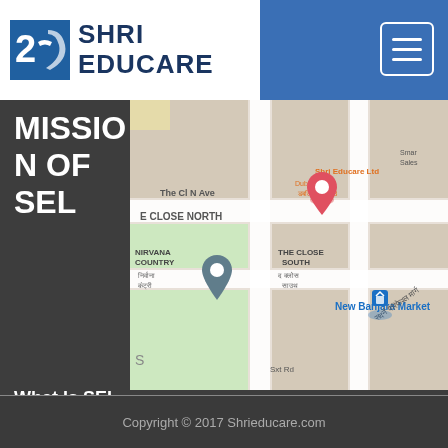Shri Educare
MISSION OF SEL
[Figure (map): Google Maps screenshot showing location of Shri Educare Ltd near New Banjara Market, Nirvana Country, The Close South area, with map pins marking the location]
What Is SEL
Copyright © 2017 Shrieducare.com